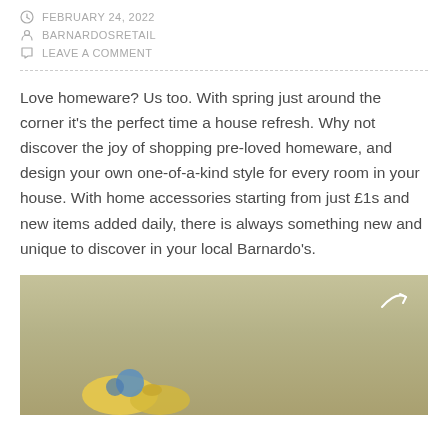FEBRUARY 24, 2022
BARNARDOSRETAIL
LEAVE A COMMENT
Love homeware? Us too. With spring just around the corner it's the perfect time a house refresh. Why not discover the joy of shopping pre-loved homeware, and design your own one-of-a-kind style for every room in your house. With home accessories starting from just £1s and new items added daily, there is always something new and unique to discover in your local Barnardo's.
[Figure (photo): Photo of homeware items on a surface with a muted olive/khaki background, showing colorful decorative objects at the bottom. A share/forward arrow icon is visible in the top right corner of the image.]